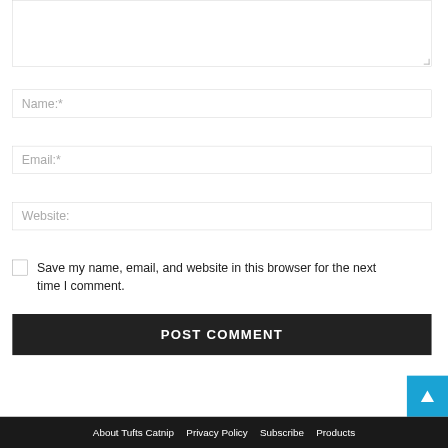(textarea comment box)
Name:*
Email:*
Website:
Save my name, email, and website in this browser for the next time I comment.
POST COMMENT
About Tufts Catnip  Privacy Policy  Subscribe  Products